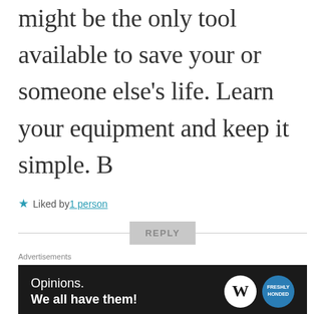might be the only tool available to save your or someone else's life. Learn your equipment and keep it simple. B
★ Liked by 1 person
REPLY
Advertisements
[Figure (infographic): WordPress advertisement banner: 'Opinions. We all have them!' with WordPress and Freshly Pressed logos on dark background]